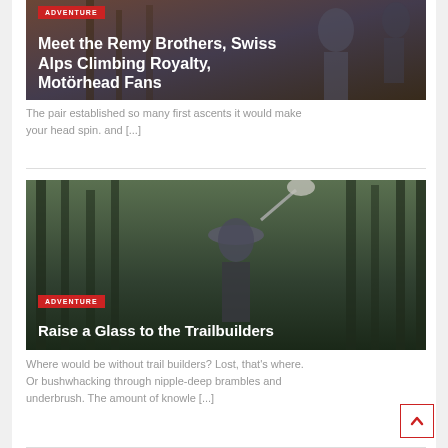[Figure (photo): Dark photo of two men (Remy Brothers) with adventure badge overlay and title text. Background shows mountain/indoor setting with warm tones.]
Meet the Remy Brothers, Swiss Alps Climbing Royalty, Motörhead Fans
The pair established so many first ascents it would make your head spin. and [...]
[Figure (photo): Photo of a man in a cap holding a shovel, standing in a forest. Adventure badge and title overlay on dark forest background.]
Raise a Glass to the Trailbuilders
Where would be without trail builders? Lost, that's where. Or bushwhacking through nipple-deep brambles and underbrush. The amount of knowle [...]